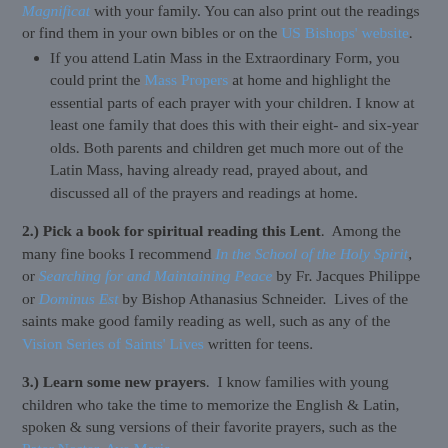Magnificat with your family. You can also print out the readings or find them in your own bibles or on the US Bishops' website.
If you attend Latin Mass in the Extraordinary Form, you could print the Mass Propers at home and highlight the essential parts of each prayer with your children. I know at least one family that does this with their eight- and six-year olds. Both parents and children get much more out of the Latin Mass, having already read, prayed about, and discussed all of the prayers and readings at home.
2.) Pick a book for spiritual reading this Lent. Among the many fine books I recommend In the School of the Holy Spirit, or Searching for and Maintaining Peace by Fr. Jacques Philippe or Dominus Est by Bishop Athanasius Schneider. Lives of the saints make good family reading as well, such as any of the Vision Series of Saints' Lives written for teens.
3.) Learn some new prayers. I know families with young children who take the time to memorize the English & Latin, spoken & sung versions of their favorite prayers, such as the Pater Noster, Ave Maria